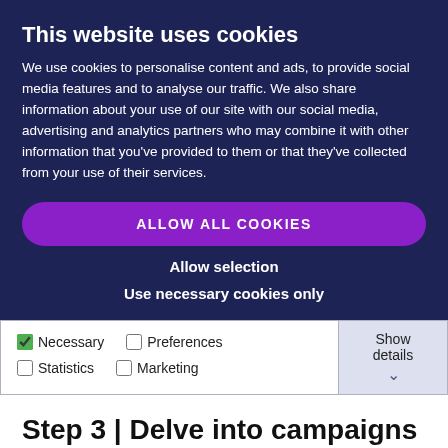This website uses cookies
We use cookies to personalise content and ads, to provide social media features and to analyse our traffic. We also share information about your use of our site with our social media, advertising and analytics partners who may combine it with other information that you've provided to them or that they've collected from your use of their services.
ALLOW ALL COOKIES
Allow selection
Use necessary cookies only
Necessary  Preferences  Statistics  Marketing  Show details
Step 3 | Delve into campaigns
Discover how to monitor campaign activity and analyse costs to determine campaign